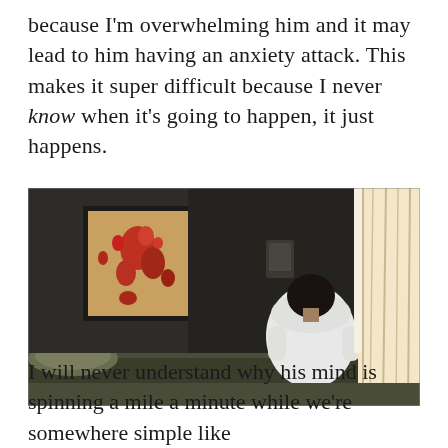because I'm overwhelming him and it may lead to him having an anxiety attack. This makes it super difficult because I never know when it's going to happen, it just happens.
[Figure (photo): A person in a white t-shirt sitting on a hotel bed with their back to the camera, head bowed. A framed abstract red and orange painting hangs on the wall behind them. A lamp is visible on the left. Curtains with bright light coming through are on the right.]
I will never understand why his mind is spinning a mile a minute while we're somewhere simple like